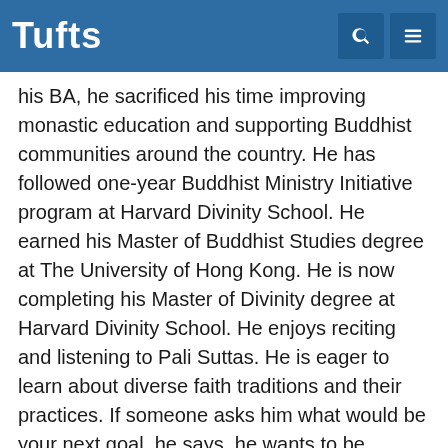Tufts
his BA, he sacrificed his time improving monastic education and supporting Buddhist communities around the country. He has followed one-year Buddhist Ministry Initiative program at Harvard Divinity School. He earned his Master of Buddhist Studies degree at The University of Hong Kong. He is now completing his Master of Divinity degree at Harvard Divinity School. He enjoys reciting and listening to Pali Suttas. He is eager to learn about diverse faith traditions and their practices. If someone asks him what would be your next goal, he says, he wants to be nothing.
Pronouns: He, him, his